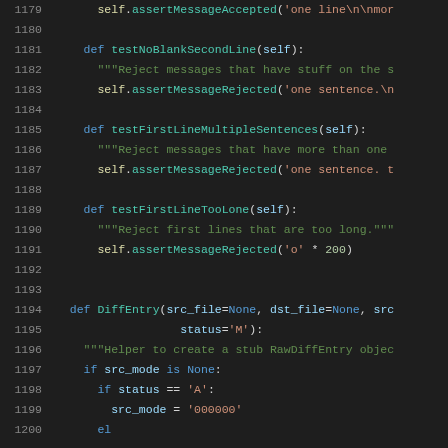[Figure (screenshot): Source code viewer showing Python code lines 1179-1199, dark theme editor with line numbers in gray, keywords in blue, strings in orange/green, function names in teal, on dark background.]